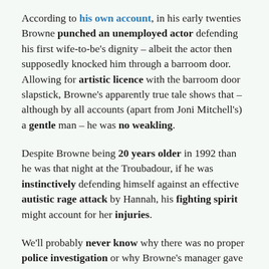According to his own account, in his early twenties Browne punched an unemployed actor defending his first wife-to-be's dignity – albeit the actor then supposedly knocked him through a barroom door. Allowing for artistic licence with the barroom door slapstick, Browne's apparently true tale shows that – although by all accounts (apart from Joni Mitchell's) a gentle man – he was no weakling.
Despite Browne being 20 years older in 1992 than he was that night at the Troubadour, if he was instinctively defending himself against an effective autistic rage attack by Hannah, his fighting spirit might account for her injuries.
We'll probably never know why there was no proper police investigation or why Browne's manager gave him a false alibi – but we should know how Hannah got those injuries. Browne says it's none of our business. I disagree